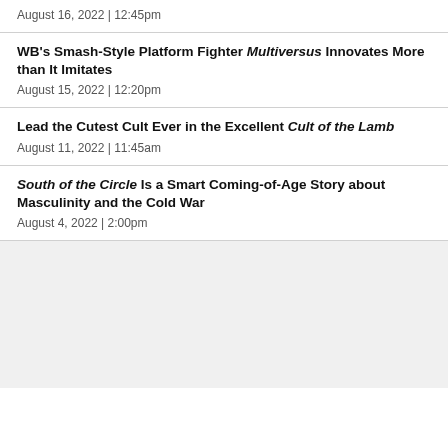August 16, 2022  |  12:45pm
WB's Smash-Style Platform Fighter Multiversus Innovates More than It Imitates
August 15, 2022  |  12:20pm
Lead the Cutest Cult Ever in the Excellent Cult of the Lamb
August 11, 2022  |  11:45am
South of the Circle Is a Smart Coming-of-Age Story about Masculinity and the Cold War
August 4, 2022  |  2:00pm